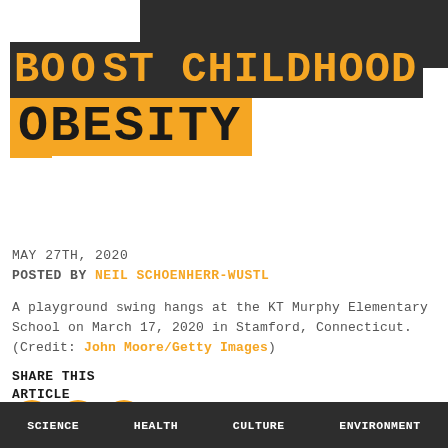BOOST CHILDHOOD OBESITY
MAY 27TH, 2020
POSTED BY NEIL SCHOENHERR-WUSTL
A playground swing hangs at the KT Murphy Elementary School on March 17, 2020 in Stamford, Connecticut. (Credit: John Moore/Getty Images)
SHARE THIS ARTICLE
SCIENCE   HEALTH   CULTURE   ENVIRONMENT